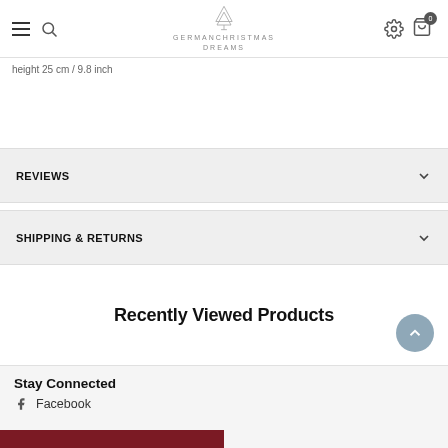GERMANCHRISTMAS DREAMS
height 25 cm / 9.8 inch
REVIEWS
SHIPPING & RETURNS
Recently Viewed Products
Stay Connected
Facebook